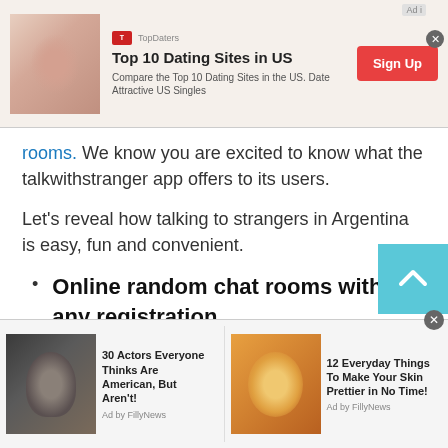[Figure (screenshot): Top advertisement banner: 'Top 10 Dating Sites in US' with red Sign Up button, TopDaters logo, and close button]
rooms. We know you are excited to know what the talkwithstranger app offers to its users.
Let's reveal how talking to strangers in Argentina is easy, fun and convenient.
Online random chat rooms without any registration
TWS offers all of the listed online chat rooms
[Figure (screenshot): Bottom ad bar with two items: '30 Actors Everyone Thinks Are American, But Aren't!' and '12 Everyday Things To Make Your Skin Prettier in No Time!' both labeled 'Ad by FillyNews']